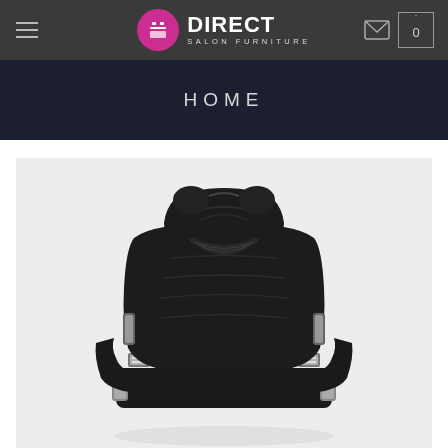Direct Salon Furniture — navigation header with logo, menu icon, email icon, and cart icon showing 0
HOME
[Figure (photo): Black leather barber/salon chair with chrome armrests and headrest, photographed against a light gray background]